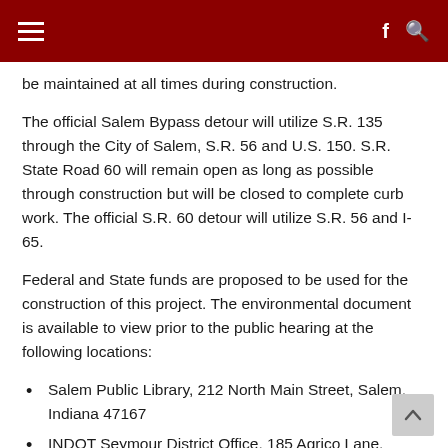≡  f 🔍
be maintained at all times during construction.
The official Salem Bypass detour will utilize S.R. 135 through the City of Salem, S.R. 56 and U.S. 150. S.R. State Road 60 will remain open as long as possible through construction but will be closed to complete curb work. The official S.R. 60 detour will utilize S.R. 56 and I-65.
Federal and State funds are proposed to be used for the construction of this project. The environmental document is available to view prior to the public hearing at the following locations:
Salem Public Library, 212 North Main Street, Salem, Indiana 47167
INDOT Seymour District Office, 185 Agrico Lane,